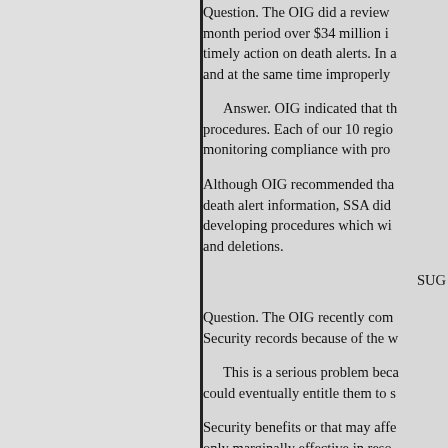Question. The OIG did a review... month period over $34 million in... timely action on death alerts. In a... and at the same time improperly...
Answer. OIG indicated that th... procedures. Each of our 10 regio... monitoring compliance with pro...
Although OIG recommended tha... death alert information, SSA did... developing procedures which wi... and deletions.
SUC
Question. The OIG recently com... Security records because of the w...
This is a serious problem beca... could eventually entitle them to s...
Security benefits or that may affe... only marginally effective in reso... substantially improve SSA's cap...